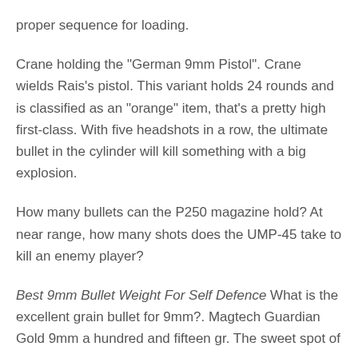proper sequence for loading.
Crane holding the "German 9mm Pistol". Crane wields Rais's pistol. This variant holds 24 rounds and is classified as an "orange" item, that's a pretty high first-class. With five headshots in a row, the ultimate bullet in the cylinder will kill something with a big explosion.
How many bullets can the P250 magazine hold? At near range, how many shots does the UMP-45 take to kill an enemy player?
Best 9mm Bullet Weight For Self Defence What is the excellent grain bullet for 9mm?. Magtech Guardian Gold 9mm a hundred and fifteen gr. The sweet spot of